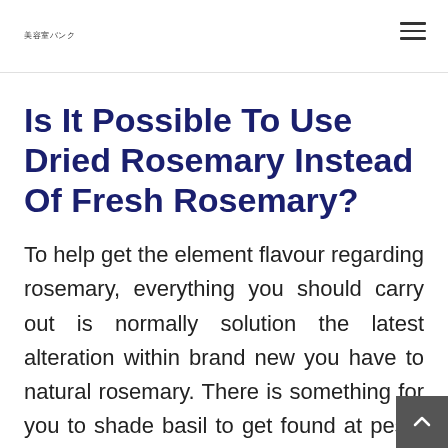美容室バンク
Is It Possible To Use Dried Rosemary Instead Of Fresh Rosemary?
To help get the element flavour regarding rosemary, everything you should carry out is normally solution the latest alteration within brand new you have to natural rosemary. There is something for you to shade basil to get found at pesto along the lines of spinach, cabbage, or perha